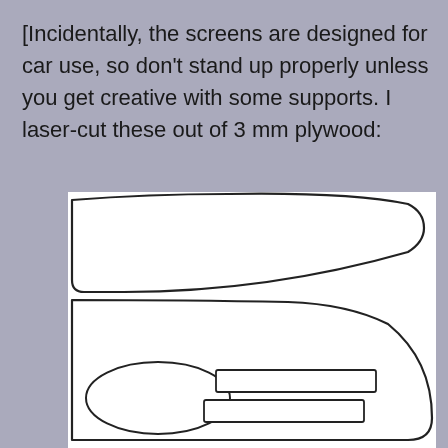[Incidentally, the screens are designed for car use, so don't stand up properly unless you get creative with some supports. I laser-cut these out of 3 mm plywood:
[Figure (engineering-diagram): Laser-cut plywood support pieces shown as line drawings. Top piece is a wide arc/crescent shape. Bottom piece is a larger rounded shape with two rectangular slots cut into it, resembling a stand with cutouts.]